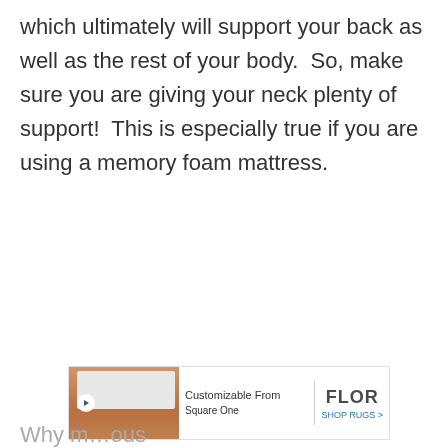which ultimately will support your back as well as the rest of your body.  So, make sure you are giving your neck plenty of support!  This is especially true if you are using a memory foam mattress.
[Figure (other): Advertisement banner for FLOR rugs — shows a room photo with orange rug, play button icon, text 'Customizable From Square One', vertical divider, and FLOR SHOP RUGS brand logo]
Why m…ous